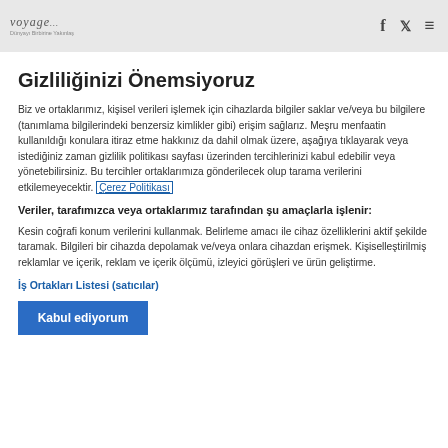voyage... [logo] | f | twitter | menu
Gizliliğinizi Önemsiyoruz
Biz ve ortaklarımız, kişisel verileri işlemek için cihazlarda bilgiler saklar ve/veya bu bilgilere (tanımlama bilgilerindeki benzersiz kimlikler gibi) erişim sağlarız. Meşru menfaatin kullanıldığı konulara itiraz etme hakkınız da dahil olmak üzere, aşağıya tıklayarak veya istediğiniz zaman gizlilik politikası sayfası üzerinden tercihlerinizi kabul edebilir veya yönetebilirsiniz. Bu tercihler ortaklarımıza gönderilecek olup tarama verilerini etkilemeyecektir. Çerez Politikası
Veriler, tarafımızca veya ortaklarımız tarafından şu amaçlarla işlenir:
Kesin coğrafi konum verilerini kullanmak. Belirleme amacı ile cihaz özelliklerini aktif şekilde taramak. Bilgileri bir cihazda depolamak ve/veya onlara cihazdan erişmek. Kişiselleştirilmiş reklamlar ve içerik, reklam ve içerik ölçümü, izleyici görüşleri ve ürün geliştirme.
İş Ortakları Listesi (satıcılar)
Kabul ediyorum